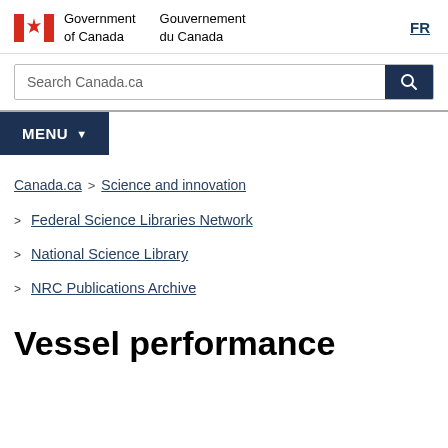Government of Canada / Gouvernement du Canada
Search Canada.ca
MENU
Canada.ca > Science and innovation > Federal Science Libraries Network > National Science Library > NRC Publications Archive
Vessel performance